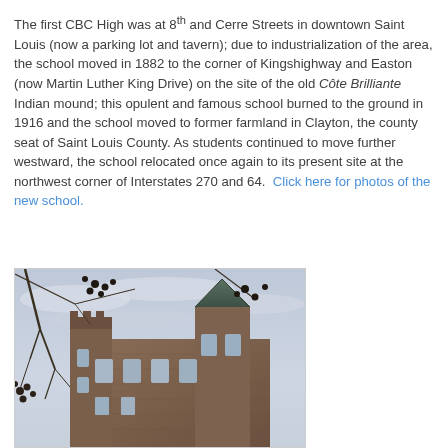The first CBC High was at 8th and Cerre Streets in downtown Saint Louis (now a parking lot and tavern); due to industrialization of the area, the school moved in 1882 to the corner of Kingshighway and Easton (now Martin Luther King Drive) on the site of the old Côte Brilliante Indian mound; this opulent and famous school burned to the ground in 1916 and the school moved to former farmland in Clayton, the county seat of Saint Louis County. As students continued to move further westward, the school relocated once again to its present site at the northwest corner of Interstates 270 and 64.  Click here for photos of the new school.
[Figure (photo): Photograph of a historic brick building (CBC High) with Gothic/castle-like architecture, bare winter trees with berry clusters in the foreground against a cloudy sky.]